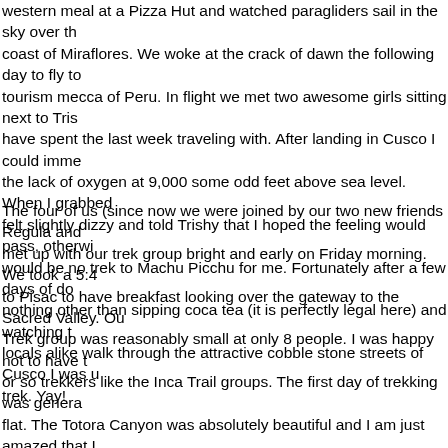western meal at a Pizza Hut and watched paragliders sail in the sky over the coast of Miraflores. We woke at the crack of dawn the following day to fly to tourism mecca of Peru. In flight we met two awesome girls sitting next to Trishy have spent the last week traveling with. After landing in Cusco I could immediately the lack of oxygen at 9,000 some odd feet above sea level. When I grabbed felt slightly dizzy and told Trishy that I hoped the feeling would pass, otherwise would be no trek to Machu Picchu for me. Fortunately after a few days of doing nothing other than sipping coca tea (it is perfectly legal here) and watching tourists locals alike walk through the attractive cobble stone streets of Cusco I was up for the trek. Yay!
The four of us (since now we were joined by our two new friends Regula and met up with our trek group bright and early on Friday morning. We took a 5:4 to Pisac to have breakfast looking over the gateway to the Sacred Valley. Our Trek group was reasonably small at only 8 people. I was happy not to have to or so trekkers like the Inca Trail groups. The first day of trekking was generally flat. The Totora Canyon was absolutely beautiful and I am just amazed that I over my own two feet as I took photos while trying to walk. Day One took us through farmed terraces, stunning mountain ranges and green valleys. We soaked our feet in the Lares hot springs before finishing the last three hours hike to our camping spot. we continued on...and up the weather turned quite chilly and misty. Soon we could see much but we could hear llamas and Peruvian farmers every now and then. Our camping spot was in a traditional Andean community called Huacahuasi. We couldn't see it until the next morning but we assumed it was pretty (and it was). Our amazing crew from SAS Travel had coca tea waiting for us almost immediately. We had an early night as it was freezing and we were exhausted. I think we turned in around so cold that all any of us could think about was bundling up and jumping into